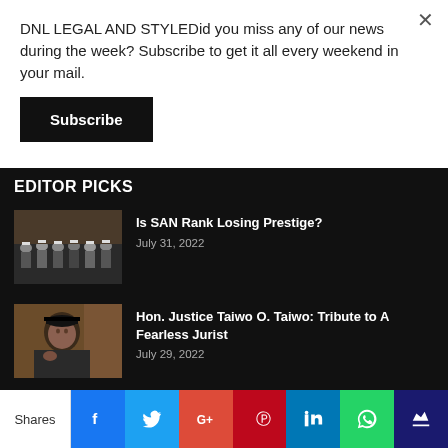DNL LEGAL AND STYLEDid you miss any of our news during the week? Subscribe to get it all every weekend in your mail.
Subscribe
EDITOR PICKS
[Figure (photo): Group of people in graduation robes seated in rows]
Is SAN Rank Losing Prestige?
July 31, 2022
[Figure (photo): Portrait of a smiling man in a black cap and outfit]
Hon. Justice Taiwo O. Taiwo: Tribute to A Fearless Jurist
July 29, 2022
Shares